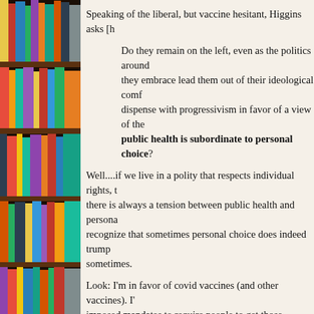Speaking of the liberal, but vaccine hesitant, Higgins asks [h
Do they remain on the left, even as the politics around they embrace lead them out of their ideological comf dispense with progressivism in favor of a view of the public health is subordinate to personal choice?
Well....if we live in a polity that respects individual rights, t there is always a tension between public health and persona recognize that sometimes personal choice does indeed trump sometimes.
Look: I'm in favor of covid vaccines (and other vaccines). I' imposed mandates to require people to get those vaccines. E that one cannot be liberal without sometimes questioning w override personal choice is part of the problem.
I'm using "liberal" where Higgins uses "progressive." If Hig Democratic party coalition to the (subset of) people who we early 20th century, then I confess that he's onto something. A there was really such a thing as the "progressive movement" there were a number of people who have since been called